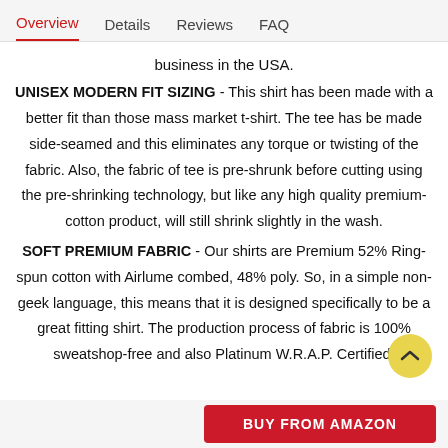Overview  Details  Reviews  FAQ
business in the USA.
UNISEX MODERN FIT SIZING - This shirt has been made with a better fit than those mass market t-shirt. The tee has be made side-seamed and this eliminates any torque or twisting of the fabric. Also, the fabric of tee is pre-shrunk before cutting using the pre-shrinking technology, but like any high quality premium-cotton product, will still shrink slightly in the wash.
SOFT PREMIUM FABRIC - Our shirts are Premium 52% Ring-spun cotton with Airlume combed, 48% poly. So, in a simple non-geek language, this means that it is designed specifically to be a great fitting shirt. The production process of fabric is 100% sweatshop-free and also Platinum W.R.A.P. Certified.
BUY FROM AMAZON